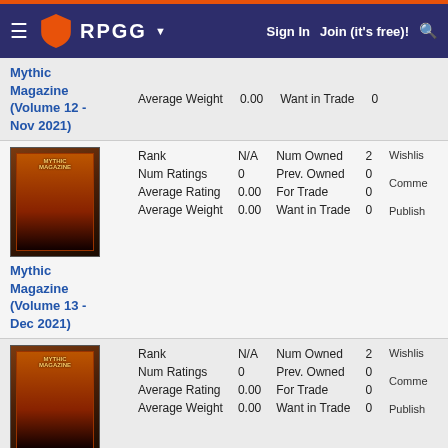RPGG — Sign In  Join (it's free)!
Mythic Magazine (Volume 12 - Nov 2021) — Average Weight 0.00, Want in Trade 0
Mythic Magazine (Volume 13 - Dec 2021) — Rank N/A, Num Owned 2, Num Ratings 0, Prev. Owned 0, Average Rating 0.00, For Trade 0, Average Weight 0.00, Want in Trade 0
Mythic Magazine (Volume 14 - Jan 2022) — Rank N/A, Num Owned 2, Num Ratings 0, Prev. Owned 0, Average Rating 0.00, For Trade 0, Average Weight 0.00, Want in Trade 0
Rank N/A, Num Owned 2